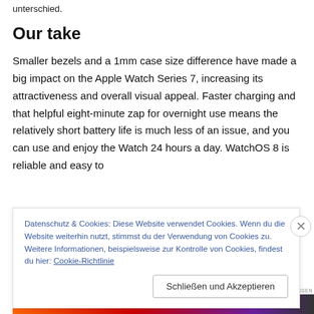unterschied.
Our take
Smaller bezels and a 1mm case size difference have made a big impact on the Apple Watch Series 7, increasing its attractiveness and overall visual appeal. Faster charging and that helpful eight-minute zap for overnight use means the relatively short battery life is much less of an issue, and you can use and enjoy the Watch 24 hours a day. WatchOS 8 is reliable and easy to
Datenschutz & Cookies: Diese Website verwendet Cookies. Wenn du die Website weiterhin nutzt, stimmst du der Verwendung von Cookies zu. Weitere Informationen, beispielsweise zur Kontrolle von Cookies, findest du hier: Cookie-Richtlinie
Schließen und Akzeptieren